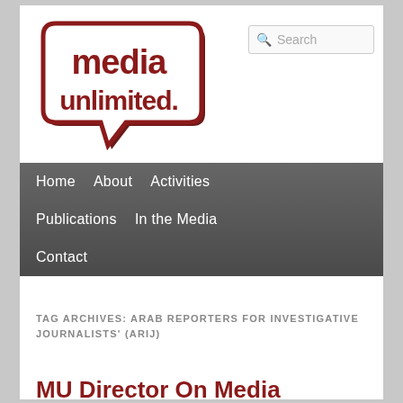[Figure (logo): Media Unlimited logo — speech bubble shape in dark red/brown with white interior showing 'media unlimited.' text in dark red bold font]
[Figure (other): Search input box with magnifying glass icon and placeholder text 'Search']
Home   About   Activities   Publications   In the Media   Contact
TAG ARCHIVES: ARAB REPORTERS FOR INVESTIGATIVE JOURNALISTS' (ARIJ)
MU Director On Media Ethics Using Refugee,